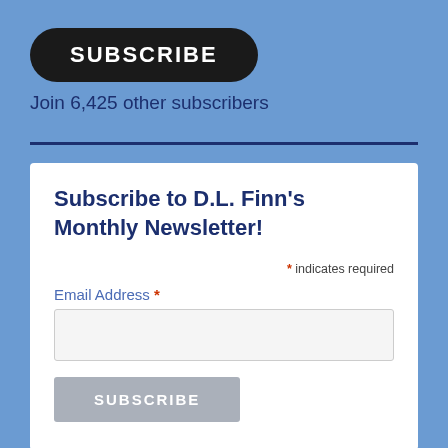SUBSCRIBE
Join 6,425 other subscribers
Subscribe to D.L. Finn's Monthly Newsletter!
* indicates required
Email Address *
SUBSCRIBE